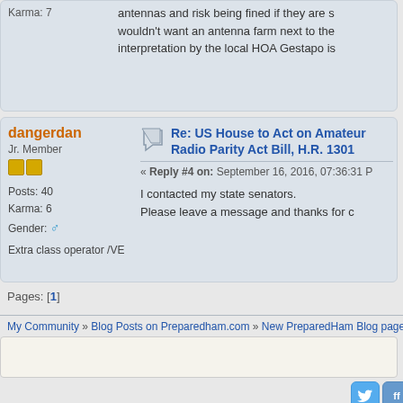Karma: 7
antennas and risk being fined if they are s... wouldn't want an antenna farm next to the... interpretation by the local HOA Gestapo is...
dangerdan
Jr. Member
Posts: 40
Karma: 6
Gender: male
Extra class operator /VE
Re: US House to Act on Amateur Radio Parity Act Bill, H.R. 1301
« Reply #4 on: September 16, 2016, 07:36:31 P
I contacted my state senators.
Please leave a message and thanks for c...
Pages: [1]
My Community » Blog Posts on Preparedham.com » New PreparedHam Blog page » US...
[Figure (screenshot): Reply text input box, empty]